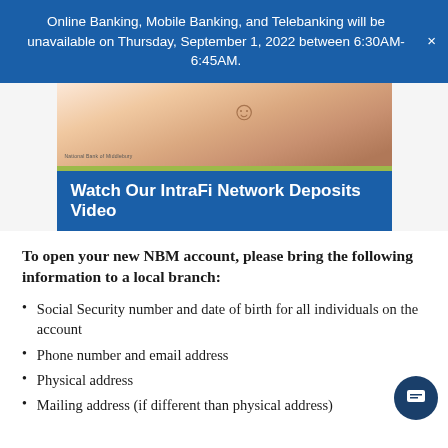Online Banking, Mobile Banking, and Telebanking will be unavailable on Thursday, September 1, 2022 between 6:30AM- 6:45AM.
[Figure (screenshot): Screenshot of a bank website showing a piggy bank image above a blue banner that reads 'Watch Our IntraFi Network Deposits Video', with a small National Bank of Middlebury logo in the lower-left of the image.]
To open your new NBM account, please bring the following information to a local branch:
Social Security number and date of birth for all individuals on the account
Phone number and email address
Physical address
Mailing address (if different than physical address)